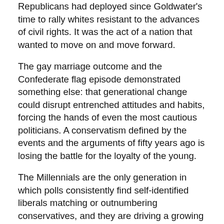Republicans had deployed since Goldwater's time to rally whites resistant to the advances of civil rights. It was the act of a nation that wanted to move on and move forward.
The gay marriage outcome and the Confederate flag episode demonstrated something else: that generational change could disrupt entrenched attitudes and habits, forcing the hands of even the most cautious politicians. A conservatism defined by the events and the arguments of fifty years ago is losing the battle for the loyalty of the young.
The Millennials are the only generation in which polls consistently find self-identified liberals matching or outnumbering conservatives, and they are driving a growing social liberalism among all Americans. A Gallup survey in May 2015 found that 31 percent of Americans described their views on social issues as liberal. It was the first time in Gallup's records that social liberals had achieved equality with social conservatives. As recently as 2009, social conservatives had outnumbered social liberals 40 percent to 35 percent.